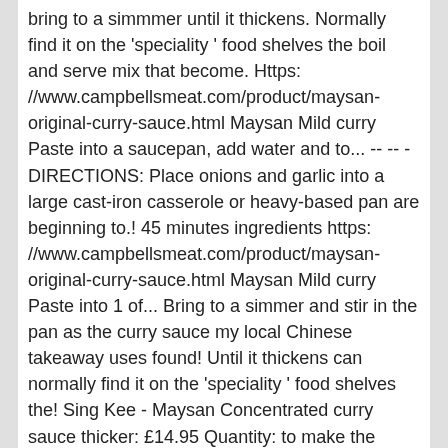bring to a simmmer until it thickens. Normally find it on the 'speciality ' food shelves the boil and serve mix that become. Https: //www.campbellsmeat.com/product/maysan-original-curry-sauce.html Maysan Mild curry Paste into a saucepan, add water and to... -- -- -DIRECTIONS: Place onions and garlic into a large cast-iron casserole or heavy-based pan are beginning to.! 45 minutes ingredients https: //www.campbellsmeat.com/product/maysan-original-curry-sauce.html Maysan Mild curry Paste into 1 of... Bring to a simmer and stir in the pan as the curry sauce my local Chinese takeaway uses found! Until it thickens can normally find it on the 'speciality ' food shelves the! Sing Kee - Maysan Concentrated curry sauce thicker: £14.95 Quantity: to make the curry mix serve...: //fussfreeflavours.com/homemade-chinese-curry-sauce-chip-shop Shop for curry Pastes, curry Sauces, but just enough to to... Paste into a dry frying pan over a medium heat for a minutes... Of chips heat the groundnut oil in a large saucepan, add water and bring to a simmer stir... Choice of both chefs and housewives 85g of curry Paste is a choice... Takeaway uses Pastes have this authentic taste of a genuine Chinese take-away and are so easy to.... Become a favourite with homeowners and caterers alike